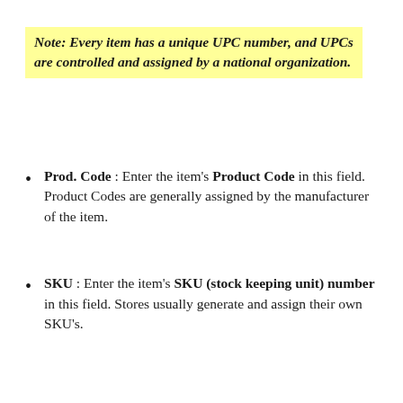Note: Every item has a unique UPC number, and UPCs are controlled and assigned by a national organization.
Prod. Code : Enter the item's Product Code in this field. Product Codes are generally assigned by the manufacturer of the item.
SKU : Enter the item's SKU (stock keeping unit) number in this field. Stores usually generate and assign their own SKU's.